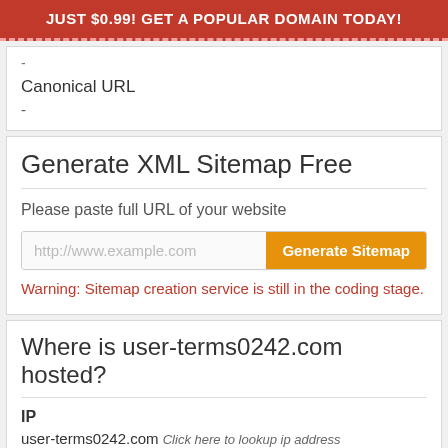JUST $0.99! GET A POPULAR DOMAIN TODAY!
-
Canonical URL
-
Generate XML Sitemap Free
Please paste full URL of your website
http://www.example.com  Generate Sitemap
Warning: Sitemap creation service is still in the coding stage.
Where is user-terms0242.com hosted?
IP
user-terms0242.com Click here to lookup ip address